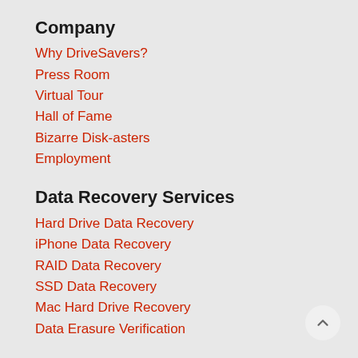Company
Why DriveSavers?
Press Room
Virtual Tour
Hall of Fame
Bizarre Disk-asters
Employment
Data Recovery Services
Hard Drive Data Recovery
iPhone Data Recovery
RAID Data Recovery
SSD Data Recovery
Mac Hard Drive Recovery
Data Erasure Verification
Certification
SOC 2 Type II